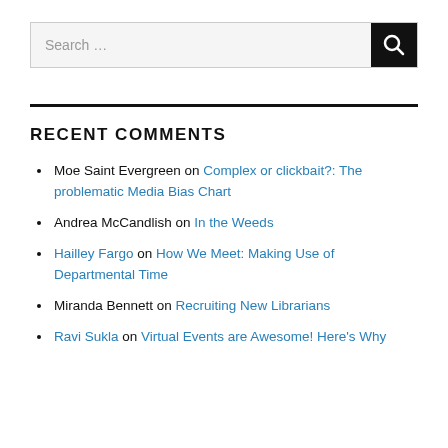[Figure (other): Search bar with text input placeholder 'Search …' and a black search button with magnifying glass icon]
RECENT COMMENTS
Moe Saint Evergreen on Complex or clickbait?: The problematic Media Bias Chart
Andrea McCandlish on In the Weeds
Hailley Fargo on How We Meet: Making Use of Departmental Time
Miranda Bennett on Recruiting New Librarians
Ravi Sukla on Virtual Events are Awesome! Here's Why